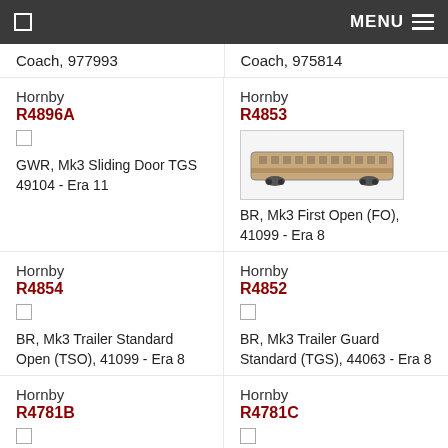MENU
Coach, 977993
Coach, 975814
Hornby
R4896A
GWR, Mk3 Sliding Door TGS 49104 - Era 11
Hornby
R4853
BR, Mk3 First Open (FO), 41099 - Era 8
Hornby
R4854
BR, Mk3 Trailer Standard Open (TSO), 41099 - Era 8
Hornby
R4852
BR, Mk3 Trailer Guard Standard (TGS), 44063 - Era 8
Hornby
R4781B
GWR, Mk3 Trailer Standard (TS)
Hornby
R4781C
GWR, Mk3 Trailer Standard (TS)